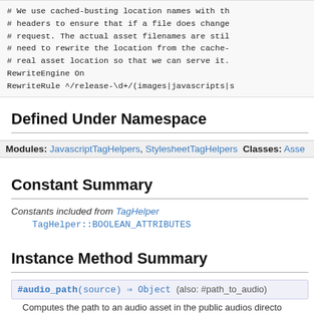# We use cached-busting location names with the
# headers to ensure that if a file does change
# request. The actual asset filenames are still
# need to rewrite the location from the cache-b
# real asset location so that we can serve it.
RewriteEngine On
RewriteRule ^/release-\d+/(images|javascripts|s
Defined Under Namespace
Modules: JavascriptTagHelpers, StylesheetTagHelpers Classes: Asse
Constant Summary
Constants included from TagHelper
    TagHelper::BOOLEAN_ATTRIBUTES
Instance Method Summary
#audio_path(source) ⇒ Object (also: #path_to_audio)
Computes the path to an audio asset in the public audios directo